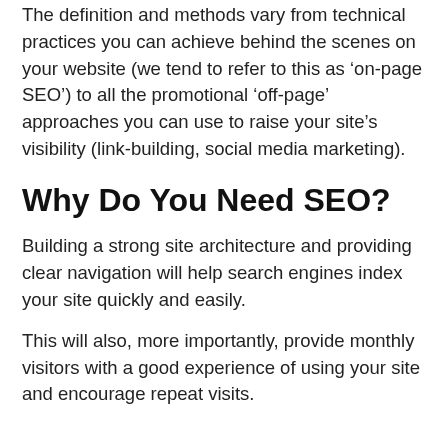The definition and methods vary from technical practices you can achieve behind the scenes on your website (we tend to refer to this as ‘on-page SEO’) to all the promotional ‘off-page’ approaches you can use to raise your site’s visibility (link-building, social media marketing).
Why Do You Need SEO?
Building a strong site architecture and providing clear navigation will help search engines index your site quickly and easily.
This will also, more importantly, provide monthly visitors with a good experience of using your site and encourage repeat visits.